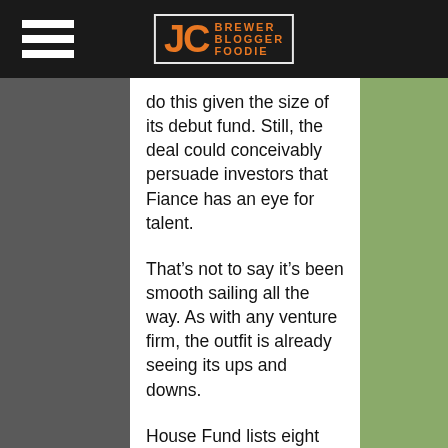JC BREWER BLOGGER FOODIE
do this given the size of its debut fund. Still, the deal could conceivably persuade investors that Fiance has an eye for talent.
That’s not to say it’s been smooth sailing all the way. As with any venture firm, the outfit is already seeing its ups and downs.
House Fund lists eight startups at its website, and says it has funded “dozens of other unannounced companies.” One of those featured